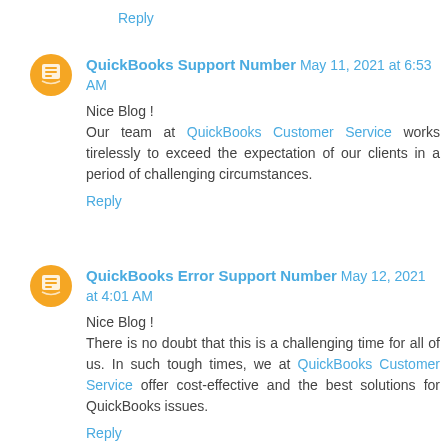Reply
QuickBooks Support Number May 11, 2021 at 6:53 AM
Nice Blog !
Our team at QuickBooks Customer Service works tirelessly to exceed the expectation of our clients in a period of challenging circumstances.
Reply
QuickBooks Error Support Number May 12, 2021 at 4:01 AM
Nice Blog !
There is no doubt that this is a challenging time for all of us. In such tough times, we at QuickBooks Customer Service offer cost-effective and the best solutions for QuickBooks issues.
Reply